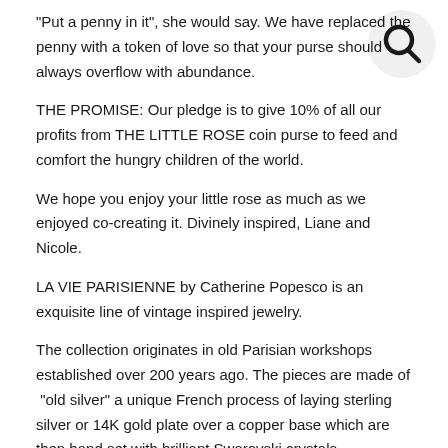"Put a penny in it", she would say. We have replaced the penny with a token of love so that your purse should always overflow with abundance.
[Figure (illustration): Search icon: circular magnifying glass symbol in the top-right corner]
THE PROMISE: Our pledge is to give 10% of all our profits from THE LITTLE ROSE coin purse to feed and comfort the hungry children of the world.
We hope you enjoy your little rose as much as we enjoyed co-creating it. Divinely inspired, Liane and Nicole.
LA VIE PARISIENNE by Catherine Popesco is an exquisite line of vintage inspired jewelry.
The collection originates in old Parisian workshops established over 200 years ago. The pieces are made of  "old silver" a unique French process of laying sterling silver or 14K gold plate over a copper base which are then hand set with brilliant Swarovski crystals.